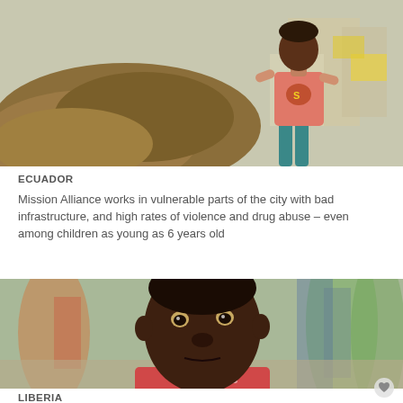[Figure (photo): A child wearing a pink Superman t-shirt standing near a large pile of dirt/rubble in what appears to be an urban area]
ECUADOR
Mission Alliance works in vulnerable parts of the city with bad infrastructure, and high rates of violence and drug abuse – even among children as young as 6 years old
[Figure (photo): Close-up portrait of a young African child wearing a red sleeveless shirt, looking directly at the camera, with blurred crowd in background]
LIBERIA